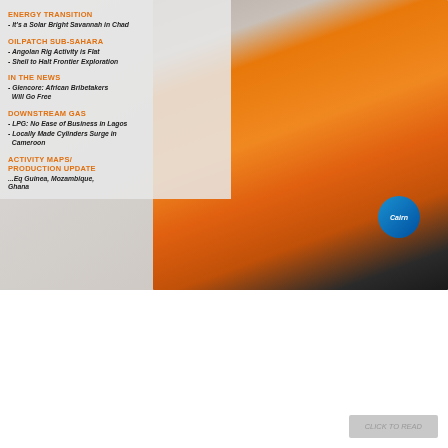[Figure (photo): Magazine cover showing a man in an orange Cairn Energy jacket smiling, with editorial content overlaid on the left side]
ENERGY TRANSITION
- It's a Solar Bright Savannah in Chad
OILPATCH SUB-SAHARA
- Angolan Rig Activity is Flat
- Shell to Halt Frontier Exploration
IN THE NEWS
- Glencore: African Bribetakers Will Go Free
DOWNSTREAM GAS
- LPG: No Ease of Business in Lagos
- Locally Made Cylinders Surge in Cameroon
ACTIVITY MAPS/ PRODUCTION UPDATE
...Eq Guinea, Mozambique, Ghana